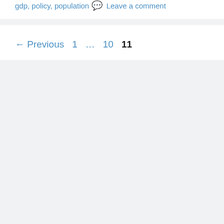gdp, policy, population
Leave a comment
← Previous  1  …  10  11